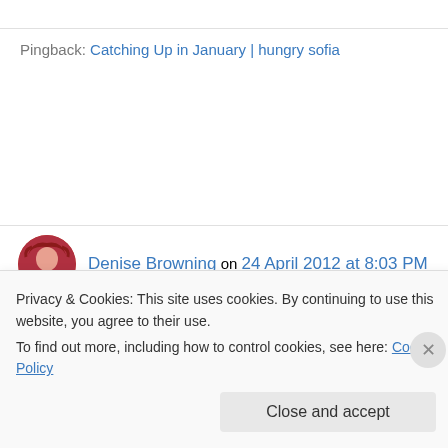Pingback: Catching Up in January | hungry sofia
Denise Browning on 24 April 2012 at 8:03 PM
It is one of my fav coconut desserts. In Puerto Rico, they sprinkle ground cinnamon on top. In Brazil (we call manjar branco or manjar de
Privacy & Cookies: This site uses cookies. By continuing to use this website, you agree to their use. To find out more, including how to control cookies, see here: Cookie Policy
Close and accept